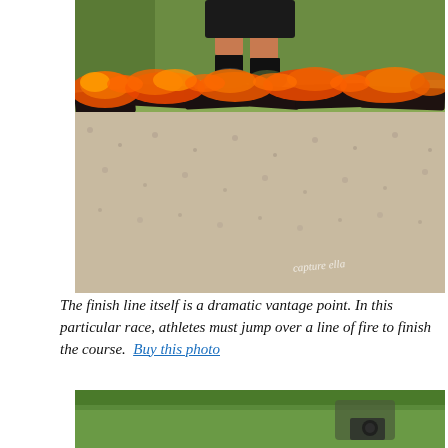[Figure (photo): A runner jumping over a line of burning logs/fire at a race finish line. The photo shows the athlete's legs mid-jump over glowing orange flames and charred wood, with gravel ground and green grass in the background. A watermark signature is visible in the lower right of the photo.]
The finish line itself is a dramatic vantage point. In this particular race, athletes must jump over a line of fire to finish the course. Buy this photo
[Figure (photo): Partial view of a second photo at the bottom of the page showing green grass and what appears to be a person holding a camera, cropped at the bottom edge.]